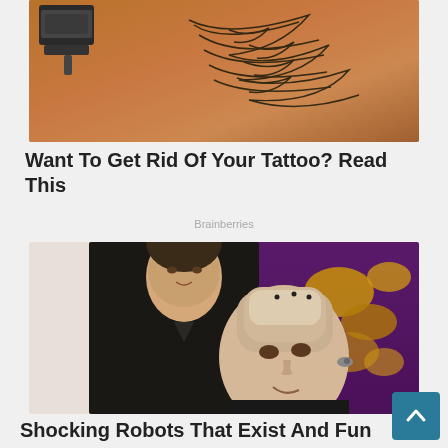[Figure (photo): Close-up photo of a tattooed shoulder/neck area with a tattoo gun/device visible on the left side. Dark bird/wing tattoo visible on skin.]
Want To Get Rid Of Your Tattoo? Read This
Brainberries
[Figure (photo): Photo of a man in a black jacket standing behind a humanoid robot (Sophia the robot) which has a realistic face but visible mechanical/transparent head components. Purple background visible.]
Shocking Robots That Exist And Fun... How Shocking To H...